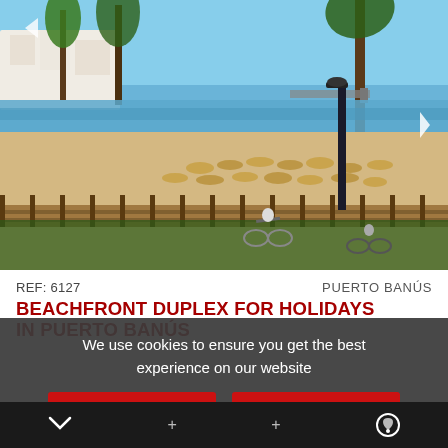[Figure (photo): Beach boardwalk scene in Puerto Banús, Spain. Sandy beach with thatched sun umbrellas, palm trees, white apartment buildings, blue sea and sky. People cycling on a wooden promenade in the foreground with a wooden fence separating it from the beach.]
REF: 6127
PUERTO BANÚS
BEACHFRONT DUPLEX FOR HOLIDAYS IN PUERTO BANÚS
We use cookies to ensure you get the best experience on our website
ACCEPT COOKIES
MORE INFO